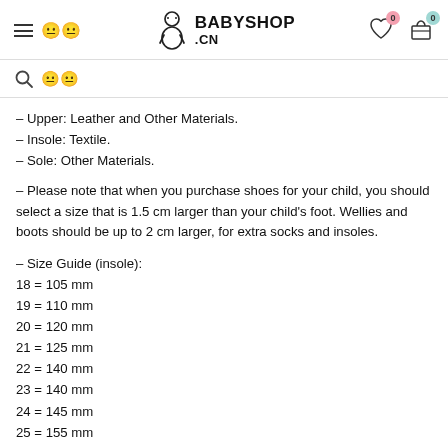BABYSHOP.CN — navigation header with hamburger, logo, wishlist (0), cart (0)
Search bar with search icon
– Upper: Leather and Other Materials.
– Insole: Textile.
– Sole: Other Materials.
– Please note that when you purchase shoes for your child, you should select a size that is 1.5 cm larger than your child's foot. Wellies and boots should be up to 2 cm larger, for extra socks and insoles.
– Size Guide (insole):
18 = 105 mm
19 = 110 mm
20 = 120 mm
21 = 125 mm
22 = 140 mm
23 = 140 mm
24 = 145 mm
25 = 155 mm